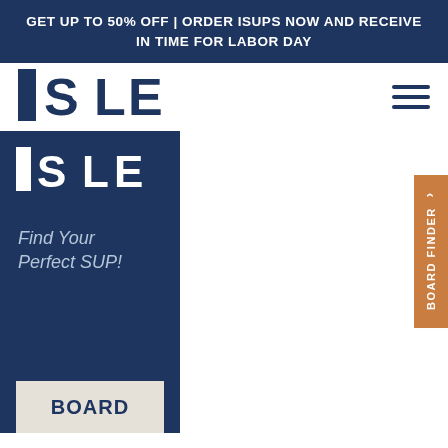GET UP TO 50% OFF | ORDER ISUPS NOW AND RECEIVE IN TIME FOR LABOR DAY
[Figure (logo): ISLE paddleboard brand logo in dark navy blue, large bold serif-style letters I·S·L·E in navigation bar]
[Figure (logo): ISLE paddleboard brand logo in white on dark navy panel, bold letters I·S·L·E]
Find Your Perfect SUP!
BOARD
BOARD FINDER